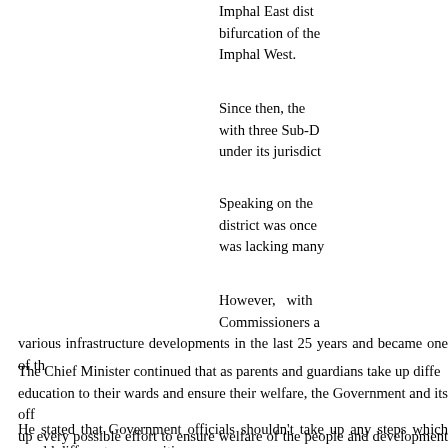Imphal East dist... bifurcation of the... Imphal West.
Since then, the... with three Sub-D... under its jurisdict...
Speaking on the... district was once... was lacking many...
However, with... Commissioners a... various infrastructure developments in the last 25 years and became one of th...
The Chief Minister continued that as parents and guardians take up diffe... education to their wards and ensure their welfare, the Government and its off... up every possible effort to ensure welfare of the people and development of th...
He stated that Government officials shouldn't take up any steps which would... different communities.
Instead, officials should work systematically to create a society where diff... added.
Expressing his appreciation on the publication of "Lourungshang da Nongma... issues, Biren stressed the need for regular evaluation on how effectively servi...
"Such a step would enable us to know the actual coverage of various welf...